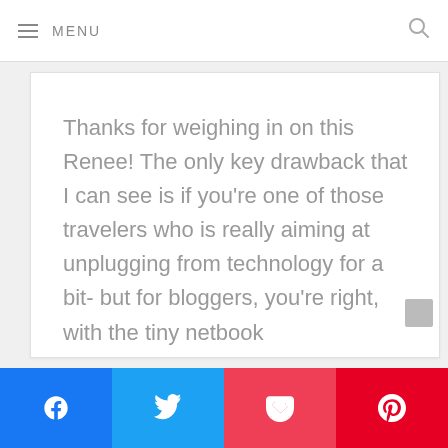≡ MENU
Thanks for weighing in on this Renee! The only key drawback that I can see is if you're one of those travelers who is really aiming at unplugging from technology for a bit- but for bloggers, you're right, with the tiny netbook
[Figure (other): Social share buttons: Facebook, Twitter, Pocket, Pinterest]